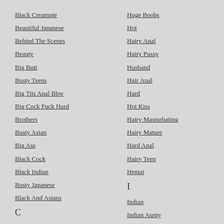Black Creampie
Beautiful Japanese
Behind The Scenes
Beauty
Big Butt
Busty Teens
Big Tits Anal Bbw
Big Cock Fuck Hard
Brothers
Busty Asian
Big Ass
Black Cock
Black Indian
Busty Japanese
Black And Asians
C
Creampie
Cumshot
Car
Huge Boobs
Hot
Hairy Anal
Hairy Pussy
Husband
Hair Anal
Hard
Hot Kiss
Hairy Masturbating
Hairy Mature
Hard Anal
Hairy Teen
Hentai
I
Indian
Indian Aunty
Indian Sex
Indians
Indian Couple